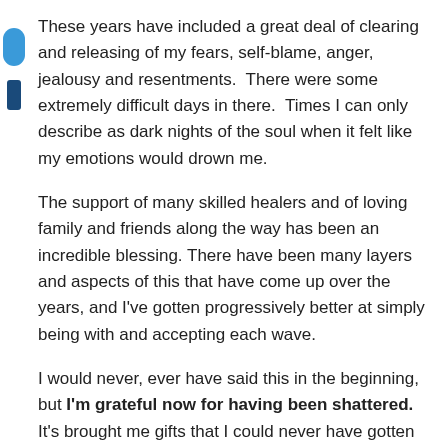These years have included a great deal of clearing and releasing of my fears, self-blame, anger, jealousy and resentments.  There were some extremely difficult days in there.  Times I can only describe as dark nights of the soul when it felt like my emotions would drown me.
The support of many skilled healers and of loving family and friends along the way has been an incredible blessing. There have been many layers and aspects of this that have come up over the years, and I've gotten progressively better at simply being with and accepting each wave.
I would never, ever have said this in the beginning, but I'm grateful now for having been shattered.  It's brought me gifts that I could never have gotten otherwise.
It taught me that: